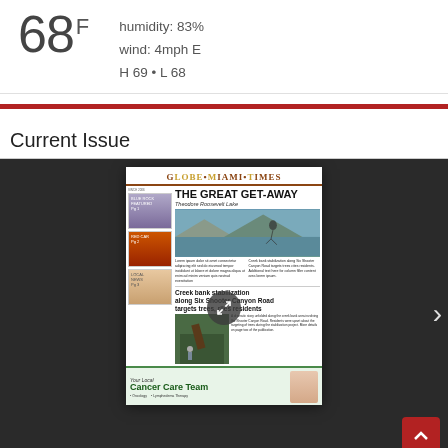68 F  humidity: 83%  wind: 4mph E  H 69 • L 68
Current Issue
[Figure (screenshot): Screenshot of Globe Miami Times newspaper front page showing headline THE GREAT GET-AWAY Theodore Roosevelt Lake, with thumbnails, articles, and a Cancer Care Team advertisement at the bottom]